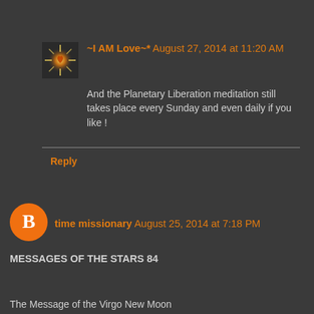[Figure (photo): Small avatar image with a glowing star/light effect on dark background]
~I AM Love~*  August 27, 2014 at 11:20 AM
And the Planetary Liberation meditation still takes place every Sunday and even daily if you like !
Reply
[Figure (logo): Orange circle with white blogger 'B' icon]
time missionary  August 25, 2014 at 7:18 PM
MESSAGES OF THE STARS 84
The Message of the Virgo New Moon
25 August, 4:14 PM, Budapest (UTC+1)
As we described earlier, after the month of Leo – which